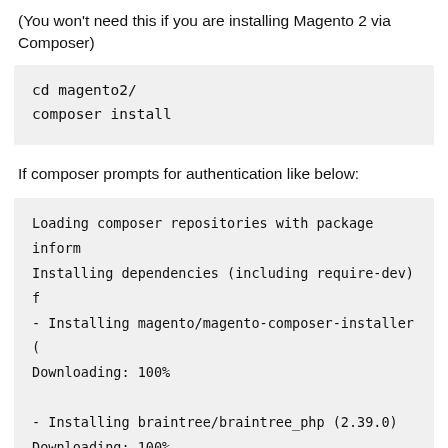(You won't need this if you are installing Magento 2 via Composer)
cd magento2/
composer install
If composer prompts for authentication like below:
Loading composer repositories with package inform
Installing dependencies (including require-dev) f
- Installing magento/magento-composer-installer (
Downloading: 100%

- Installing braintree/braintree_php (2.39.0)
Downloading: 100%

- Installing justinrainbow/json-schema (1.6.1)
Downloading: 100%

- Installing symfony/console (v2.6.12)